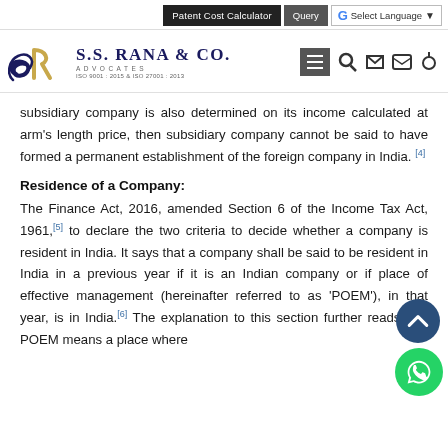Patent Cost Calculator | Query | G Select Language
[Figure (logo): S.S. Rana & Co. Advocates logo with SR monogram, ISO 9001:2015 & ISO 27001:2013 certification]
subsidiary company is also determined on its income calculated at arm's length price, then subsidiary company cannot be said to have formed a permanent establishment of the foreign company in India.[4]
Residence of a Company:
The Finance Act, 2016, amended Section 6 of the Income Tax Act, 1961,[5] to declare the two criteria to decide whether a company is resident in India. It says that a company shall be said to be resident in India in a previous year if it is an Indian company or if place of effective management (hereinafter referred to as 'POEM'), in that year, is in India.[6] The explanation to this section further reads that POEM means a place where